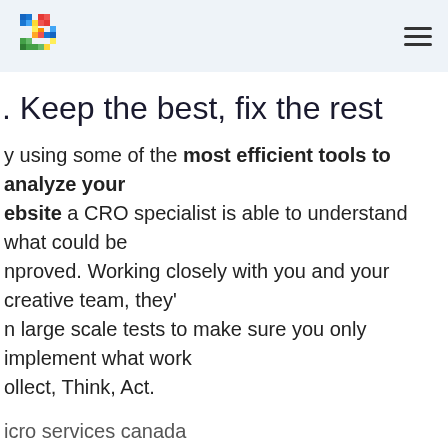[logo] [hamburger menu]
. Keep the best, fix the rest
y using some of the most efficient tools to analyze your ebsite a CRO specialist is able to understand what could be nproved. Working closely with you and your creative team, they' n large scale tests to make sure you only implement what work ollect, Think, Act.
icro services canada